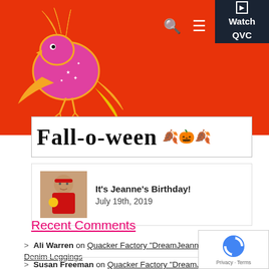Fall-o-ween — QVC website header with logo, search, menu, and Watch QVC button
[Figure (logo): Orange and pink illustrated bird/phoenix logo on red background]
Watch QVC
[Figure (illustration): Fall-o-ween banner with fall leaves and pumpkin decoration]
It's Jeanne's Birthday!
July 19th, 2019
Recent Comments
Ali Warren on Quacker Factory "DreamJeannes" Short Knit Denim Leggings
Susan Freeman on Quacker Factory "DreamJeannes"